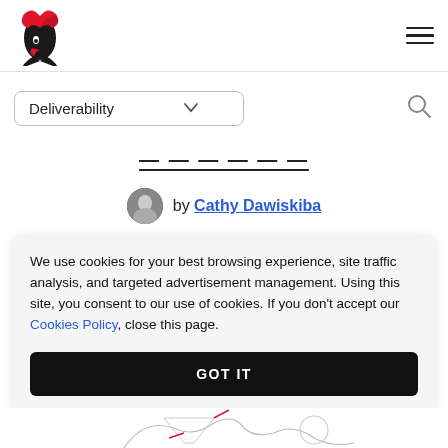[Figure (logo): Phoenix-like bird logo in red and black]
[Figure (other): Hamburger menu icon (three horizontal lines)]
[Figure (other): Deliverability dropdown selector]
[Figure (other): Search icon (magnifying glass)]
— — — — — —
by Cathy Dawiskiba
We use cookies for your best browsing experience, site traffic analysis, and targeted advertisement management. Using this site, you consent to our use of cookies. If you don't accept our Cookies Policy, close this page.
GOT IT
[Figure (illustration): Partial illustration at bottom of page showing book-like and clock imagery]